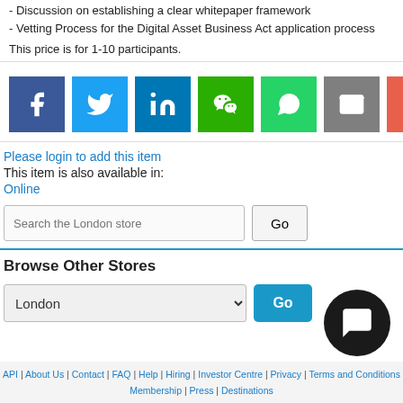- Discussion on establishing a clear whitepaper framework
- Vetting Process for the Digital Asset Business Act application process
This price is for 1-10 participants.
[Figure (infographic): Social share buttons: Facebook (dark blue), Twitter (light blue), LinkedIn (blue), WeChat (green), WhatsApp (green), Email (grey), More/Plus (red-orange)]
Please login to add this item
This item is also available in:
Online
Search the London store [input] Go [button]
Browse Other Stores
London [dropdown] Go [button]
API | About Us | Contact | FAQ | Help | Hiring | Investor Centre | Privacy | Terms and Conditions | Membership | Press | Destinations